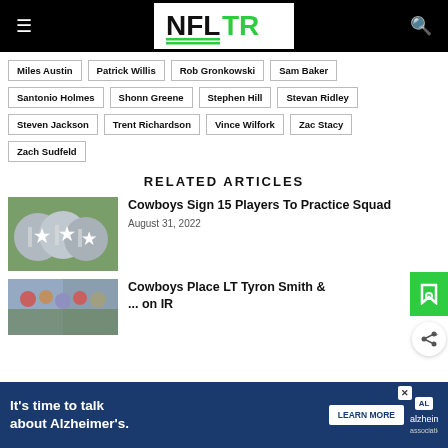NFLTR
Miles Austin
Patrick Willis
Rob Gronkowski
Sam Baker
Santonio Holmes
Shonn Greene
Stephen Hill
Stevan Ridley
Steven Jackson
Trent Richardson
Vince Wilfork
Zac Stacy
Zach Sudfeld
RELATED ARTICLES
Cowboys Sign 15 Players To Practice Squad
August 31, 2022
[Figure (photo): Dallas Cowboys helmets]
Cowboys Place LT Tyron Smith & ... on IR
[Figure (photo): Cowboys game photo]